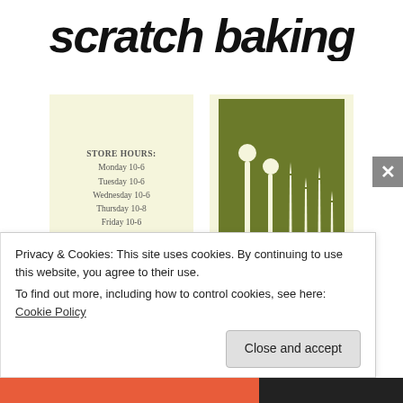[Figure (logo): Scratch Baking logo in bold italic lowercase font]
[Figure (illustration): Left card: cream/ivory background with store hours text. Right card: olive green background with stylized knitting needles illustration in cream.]
STORE HOURS:
Monday 10-6
Tuesday 10-6
Wednesday 10-6
Thursday 10-8
Friday 10-6
Saturday 11-5
closed Sunday
Privacy & Cookies: This site uses cookies. By continuing to use this website, you agree to their use.
To find out more, including how to control cookies, see here: Cookie Policy
Close and accept